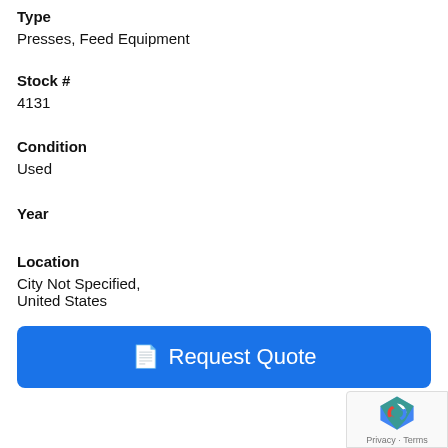Type
Presses, Feed Equipment
Stock #
4131
Condition
Used
Year
Location
City Not Specified,
United States
Request Quote